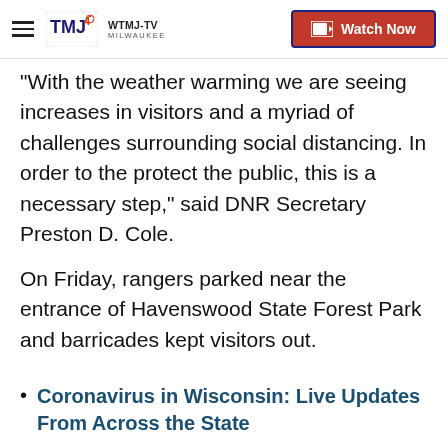WTMJ-TV MILWAUKEE | Watch Now
"With the weather warming we are seeing increases in visitors and a myriad of challenges surrounding social distancing. In order to the protect the public, this is a necessary step," said DNR Secretary Preston D. Cole.
On Friday, rangers parked near the entrance of Havenswood State Forest Park and barricades kept visitors out.
Coronavirus in Wisconsin: Live Updates From Across the State
We're Open: These Restaurants Are Still Offering Carryout And Delivery